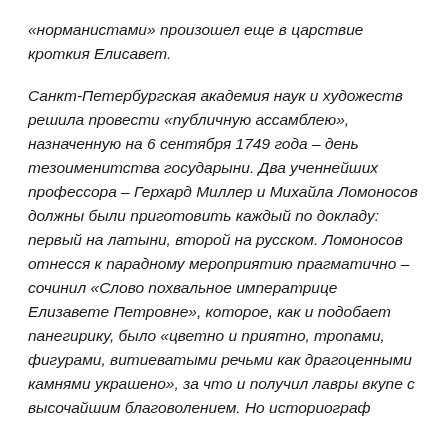«норманистами» произошел еще в царствие кроткия Елисавет.
Санкт-Петербургская академия наук и художеств решила провести «публичную ассамблею», назначенную на 6 сентября 1749 года – день тезоименитства государыни. Два ученнейших профессора – Герхард Миллер и Михайла Ломоносов должны были приготовить каждый по докладу: первый на латыни, второй на русском. Ломоносов отнесся к парадному мероприятию прагматично – сочинил «Слово похвальное императрице Елизавете Петровне», которое, как и подобает панегирику, было «цветно и приятно, тропами, фигурами, витиеватыми речьми как драгоценными камнями украшено», за что и получил лавры вкупе с высочайшим благоволением. Но историограф